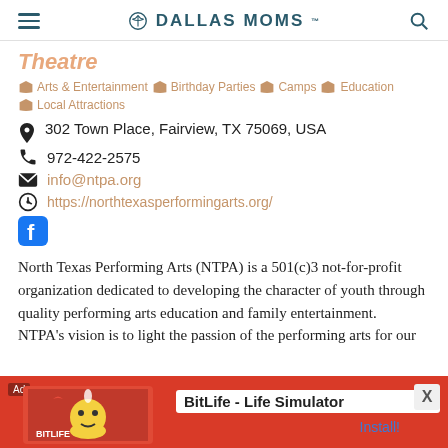DALLAS MOMS
Theatre
Arts & Entertainment  Birthday Parties  Camps  Education  Local Attractions
302 Town Place, Fairview, TX 75069, USA
972-422-2575
info@ntpa.org
https://northtexasperformingarts.org/
[Figure (logo): Facebook logo icon]
North Texas Performing Arts (NTPA) is a 501(c)3 not-for-profit organization dedicated to developing the character of youth through quality performing arts education and family entertainment.  NTPA's vision is to light the passion of the performing arts for our
[Figure (screenshot): Ad banner for BitLife - Life Simulator game]